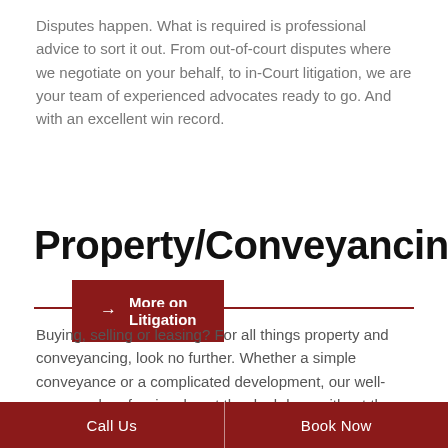Disputes happen. What is required is professional advice to sort it out. From out-of-court disputes where we negotiate on your behalf, to in-Court litigation, we are your team of experienced advocates ready to go. And with an excellent win record.
→ More on Litigation
Property/Conveyancing
Buying, selling or leasing? For all things property and conveyancing, look no further. Whether a simple conveyance or a complicated development, our well-renowned professionals get the deal done without the fuss.
Call Us   Book Now